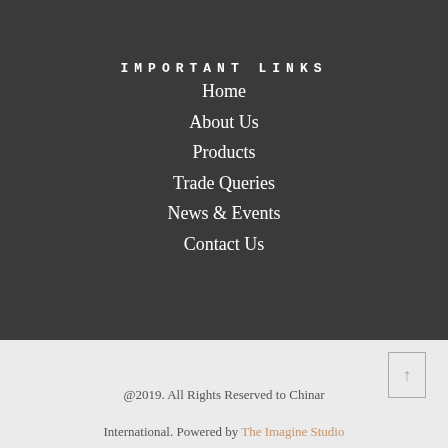IMPORTANT LINKS
Home
About Us
Products
Trade Queries
News & Events
Contact Us
@2019. All Rights Reserved to Chinar
International. Powered by The Imagine Studio